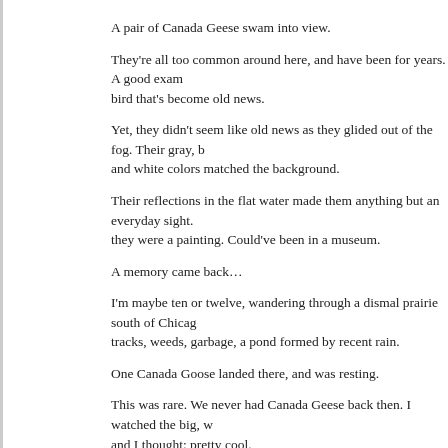A pair of Canada Geese swam into view.
They're all too common around here, and have been for years. A good exam bird that's become old news.
Yet, they didn't seem like old news as they glided out of the fog. Their gray, b and white colors matched the background.
Their reflections in the flat water made them anything but an everyday sight. they were a painting. Could've been in a museum.
A memory came back…
I'm maybe ten or twelve, wandering through a dismal prairie south of Chicag tracks, weeds, garbage, a pond formed by recent rain.
One Canada Goose landed there, and was resting.
This was rare. We never had Canada Geese back then. I watched the big, w and I thought: pretty cool.
A teenage kid from our nearby industrial neighborhood waded into the knee- water with a shotgun.
I'd never seen a gun fired outside of the movies.
One wing got blasted off. The goose fluttered on the pond's surface, crying o splashing in a circle. It was unmoving when the older kid got to it.